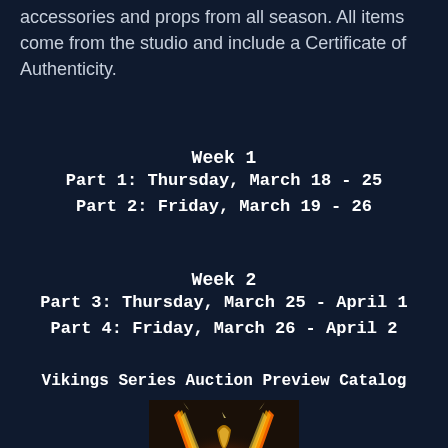accessories and props from all season. All items come from the studio and include a Certificate of Authenticity.
Week 1
Part 1: Thursday, March 18 - 25
Part 2: Friday, March 19 - 26
Week 2
Part 3: Thursday, March 25 - April 1
Part 4: Friday, March 26 - April 2
Vikings Series Auction Preview Catalog
[Figure (photo): Vikings TV show logo - a fiery V shape with ornate Viking-style lettering against a dark background]